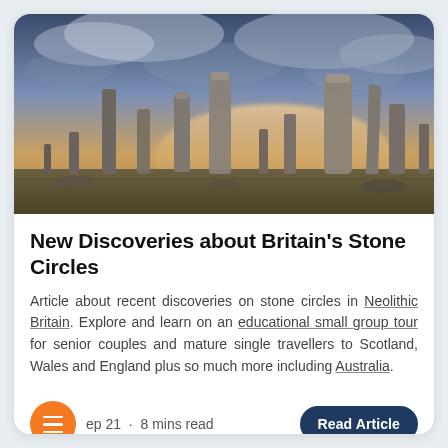[Figure (photo): Dramatic photograph of ancient standing stones (stone circle) against a moody sky with orange and blue sunset clouds, in a flat moorland landscape — Callanish Stones, Scotland.]
New Discoveries about Britain's Stone Circles
Article about recent discoveries on stone circles in Neolithic Britain. Explore and learn on an educational small group tour for senior couples and mature single travellers to Scotland, Wales and England plus so much more including Australia.
Sep 21  ·  8 mins read
Read Article